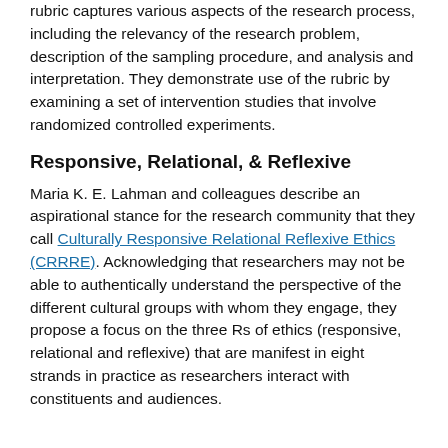rubric captures various aspects of the research process, including the relevancy of the research problem, description of the sampling procedure, and analysis and interpretation. They demonstrate use of the rubric by examining a set of intervention studies that involve randomized controlled experiments.
Responsive, Relational, & Reflexive
Maria K. E. Lahman and colleagues describe an aspirational stance for the research community that they call Culturally Responsive Relational Reflexive Ethics (CRRRE). Acknowledging that researchers may not be able to authentically understand the perspective of the different cultural groups with whom they engage, they propose a focus on the three Rs of ethics (responsive, relational and reflexive) that are manifest in eight strands in practice as researchers interact with constituents and audiences.